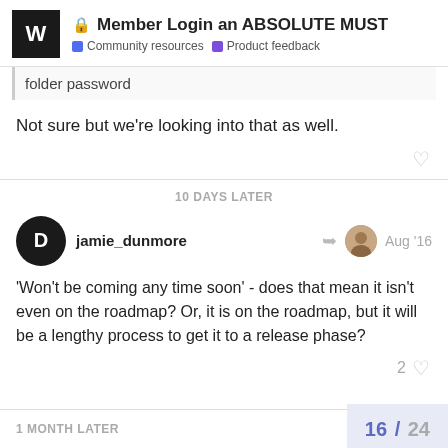Member Login an ABSOLUTE MUST | Community resources | Product feedback
folder password
Not sure but we're looking into that as well.
10 DAYS LATER
jamie_dunmore Aug '16
'Won't be coming any time soon' - does that mean it isn't even on the roadmap? Or, it is on the roadmap, but it will be a lengthy process to get it to a release phase?
1 MONTH LATER
16 / 24